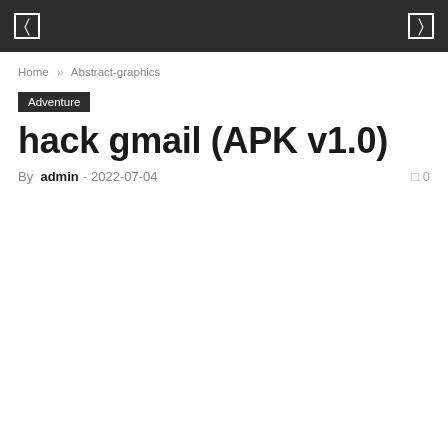[ icon ] [ icon ]
Home » Abstract-graphics
Adventure
hack gmail (APK v1.0)
By admin - 2022-07-04  0